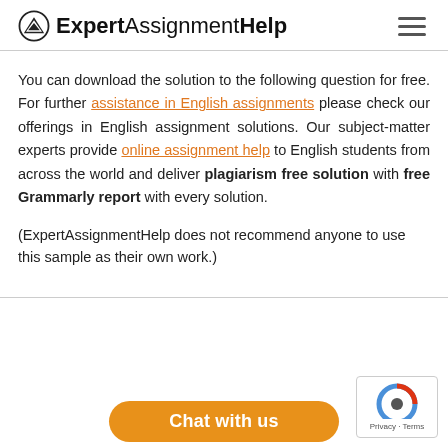ExpertAssignmentHelp
You can download the solution to the following question for free. For further assistance in English assignments please check our offerings in English assignment solutions. Our subject-matter experts provide online assignment help to English students from across the world and deliver plagiarism free solution with free Grammarly report with every solution.
(ExpertAssignmentHelp does not recommend anyone to use this sample as their own work.)